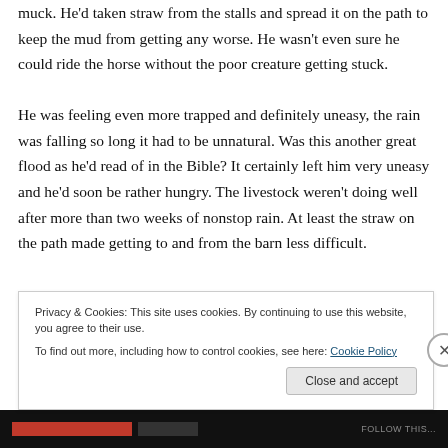muck. He'd taken straw from the stalls and spread it on the path to keep the mud from getting any worse. He wasn't even sure he could ride the horse without the poor creature getting stuck.

He was feeling even more trapped and definitely uneasy, the rain was falling so long it had to be unnatural. Was this another great flood as he'd read of in the Bible? It certainly left him very uneasy and he'd soon be rather hungry. The livestock weren't doing well after more than two weeks of nonstop rain. At least the straw on the path made getting to and from the barn less difficult.
Privacy & Cookies: This site uses cookies. By continuing to use this website, you agree to their use.
To find out more, including how to control cookies, see here: Cookie Policy
Close and accept